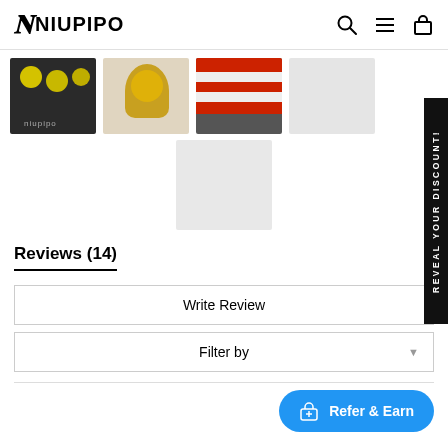NIUPIPO
[Figure (photo): Product photos showing pickleball equipment - yellow pickleballs in bag, pickleball paddle, USA flag design gear, and a placeholder image]
[Figure (photo): Gray placeholder image box]
Reviews (14)
Write Review
Filter by
Refer & Earn
REVEAL YOUR DISCOUNT!